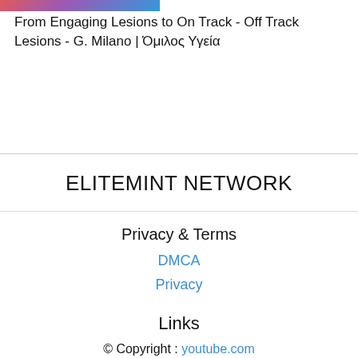[Figure (photo): Partial thumbnail image strip at top of page showing colorful medical/event imagery]
From Engaging Lesions to On Track - Off Track Lesions - G. Milano | Όμιλος Υγεία
ELITEMINT NETWORK
Privacy & Terms
DMCA
Privacy
Links
© Copyright : youtube.com